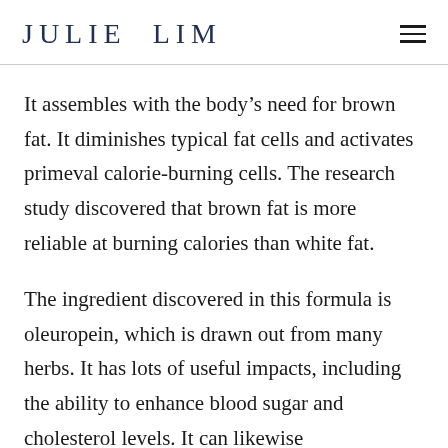JULIE LIM
It assembles with the body’s need for brown fat. It diminishes typical fat cells and activates primeval calorie-burning cells. The research study discovered that brown fat is more reliable at burning calories than white fat.
The ingredient discovered in this formula is oleuropein, which is drawn out from many herbs. It has lots of useful impacts, including the ability to enhance blood sugar and cholesterol levels. It can likewise